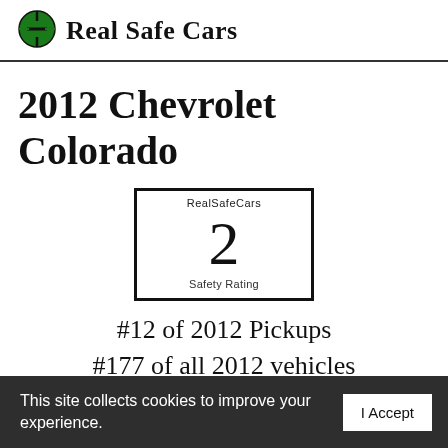Real Safe Cars
2012 Chevrolet Colorado
[Figure (infographic): RealSafeCars Safety Rating box showing the number 2]
#12 of 2012 Pickups
#177 of all 2012 vehicles
This site collects cookies to improve your experience.